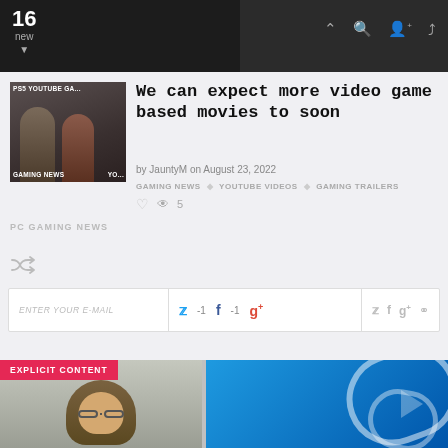16 new
[Figure (screenshot): Thumbnail image showing two people, with overlay text PS5 YOUTUBE GAMING, GAMING NEWS, YOUTUBE VIDEOS]
We can expect more video game based movies to soon
by JauntyM on August 23, 2022
GAMING NEWS   YOUTUBE VIDEOS   GAMING TRAILERS   ♥  👁 5
PC GAMING NEWS
ENTER YOUR E-MAIL   🐦 -1   f -1   g+
[Figure (photo): Bottom left: person with long hair and glasses, with red EXPLICIT CONTENT badge]
[Figure (photo): Bottom right: blue background with white curved shapes, resembling PS logo design]